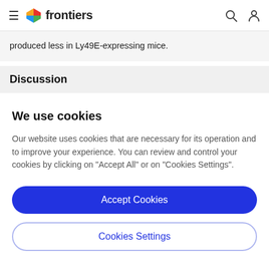frontiers
produced less in Ly49E-expressing mice.
Discussion
We use cookies
Our website uses cookies that are necessary for its operation and to improve your experience. You can review and control your cookies by clicking on "Accept All" or on "Cookies Settings".
Accept Cookies
Cookies Settings